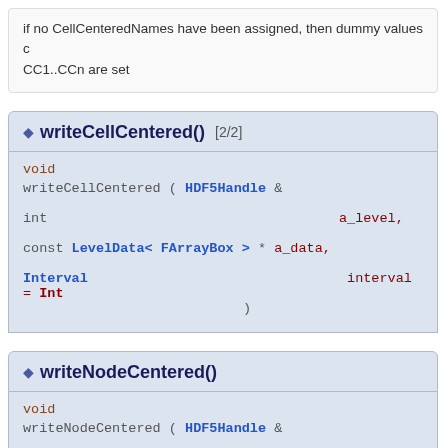if no CellCenteredNames have been assigned, then dummy values CC1..CCn are set
writeCellCentered() [2/2]
void
writeCellCentered ( HDF5Handle & a_handle,
  int a_level,
  const LevelData< FArrayBox > * a_data,
  Interval interval = Int
)
writeNodeCentered()
void
writeNodeCentered ( HDF5Handle & a_handle,